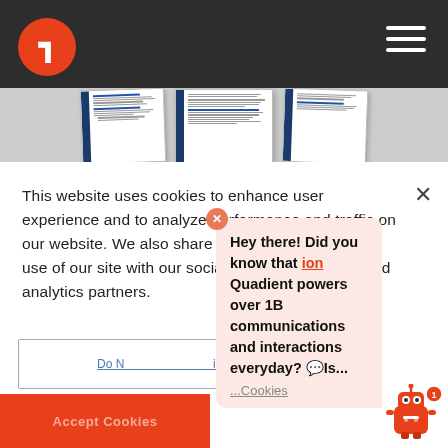[Figure (screenshot): Dark header bar with orange circular logo containing a stylized '1' or arrow icon on the left, hamburger menu icon on the right, and a document preview strip showing three overlapping white document pages with blue side bars and text lines.]
This website uses cookies to enhance user experience and to analyze performance and traffic on our website. We also share information about your use of our site with our social media, advertising and analytics partners.
[Figure (screenshot): Cookie consent UI with 'Do Not...' button (underlined blue text with border) and an orange 'Accept Cookies' strip at bottom. Overlaid with a chat bubble saying 'Hey there! Did you know that Quadient powers over 1B communications and interactions everyday? Is...' with a robot avatar and red badge showing '1'.]